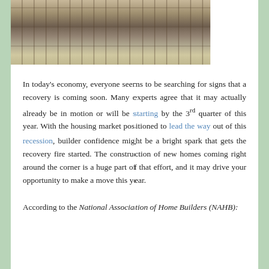[Figure (photo): Construction site photo showing a partially framed building structure with lumber and building materials scattered on the ground, open landscape in background.]
In today's economy, everyone seems to be searching for signs that a recovery is coming soon. Many experts agree that it may actually already be in motion or will be starting by the 3rd quarter of this year. With the housing market positioned to lead the way out of this recession, builder confidence might be a bright spark that gets the recovery fire started. The construction of new homes coming right around the corner is a huge part of that effort, and it may drive your opportunity to make a move this year.
According to the National Association of Home Builders (NAHB):